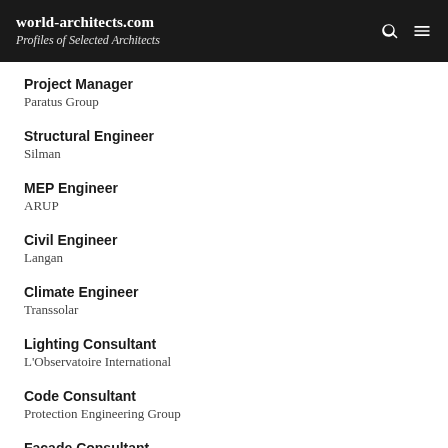world-architects.com
Profiles of Selected Architects
Project Manager
Paratus Group
Structural Engineer
Silman
MEP Engineer
ARUP
Civil Engineer
Langan
Climate Engineer
Transsolar
Lighting Consultant
L'Observatoire International
Code Consultant
Protection Engineering Group
Facade Consultant